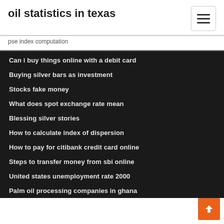oil statistics in texas
pse index computation
Can i buy things online with a debit card
Buying silver bars as investment
Stocks fake money
What does spot exchange rate mean
Blessing silver stories
How to calculate index of dispersion
How to pay for citibank credit card online
Steps to transfer money from sbi online
United states unemployment rate 2000
Palm oil processing companies in ghana